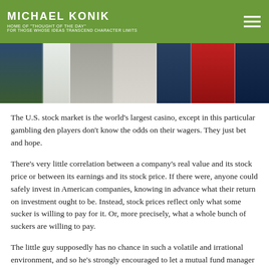MICHAEL KONIK
HOME OF "THOUGHT OF THE DAY"
FOR THOSE WHOSE IDEAS TRANSCEND CHARACTER LIMITS
[Figure (photo): A cropped photo strip showing several neckties in varying colors including dark blue, green, white, grey, taupe, navy, red, arranged side by side]
The U.S. stock market is the world's largest casino, except in this particular gambling den players don't know the odds on their wagers. They just bet and hope.
There's very little correlation between a company's real value and its stock price or between its earnings and its stock price. If there were, anyone could safely invest in American companies, knowing in advance what their return on investment ought to be. Instead, stock prices reflect only what some sucker is willing to pay for it. Or, more precisely, what a whole bunch of suckers are willing to pay.
The little guy supposedly has no chance in such a volatile and irrational environment, and so he's strongly encouraged to let a mutual fund manager play with his money (and skim off a couple of percent for the effort.) Even then, stock prices often have no...